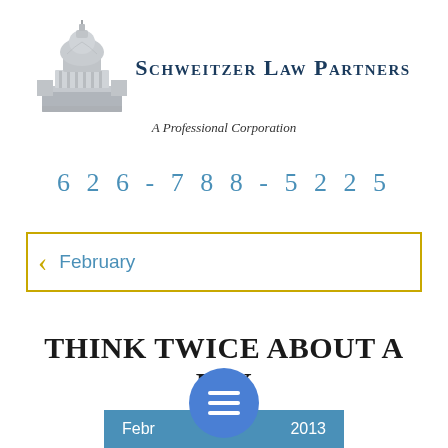[Figure (logo): Schweitzer Law Partners logo with capitol dome building graphic in gray, firm name in dark navy blue, and tagline 'A Professional Corporation']
626-788-5225
< February
THINK TWICE ABOUT A DIY DIVORCE
February 2013